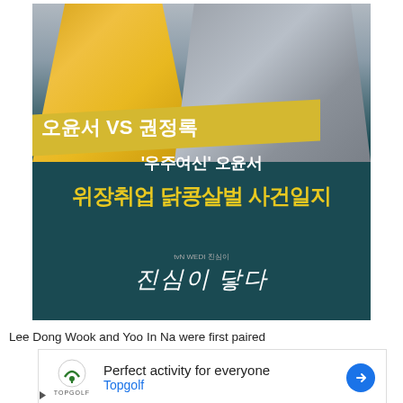[Figure (photo): Korean TV show promotional image featuring two people (woman in gold dress on left, man in grey suit on right) against a dark teal background with Korean text overlays. Text includes '오윤서 VS 권정록', ''우주여신' 오윤서', '위장취업 닭콩살벌 사건일지', and a show logo '진심이 닿다'.]
Lee Dong Wook and Yoo In Na were first paired
[Figure (infographic): Advertisement for Topgolf with logo, text 'Perfect activity for everyone', 'Topgolf', and a blue directional arrow icon.]